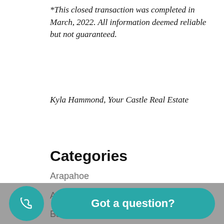*This closed transaction was completed in March, 2022. All information deemed reliable but not guaranteed.
Kyla Hammond, Your Castle Real Estate
Categories
Arapahoe
Aurora
Bailey, CO
Breenlow
[Figure (other): Bottom UI overlay with a teal circular phone button and a teal rounded rectangle 'Got a question?' button]